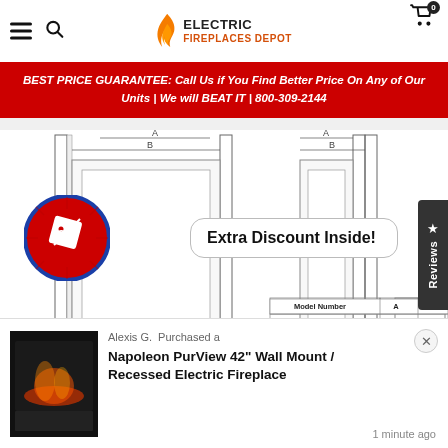[Figure (screenshot): Electric Fireplaces Depot website header with hamburger menu, search icon, flame logo, and cart icon with 0 badge]
BEST PRICE GUARANTEE: Call Us if You Find Better Price On Any of Our Units | We will BEAT IT | 800-309-2144
[Figure (engineering-diagram): Engineering installation diagram of recessed electric fireplace showing dimensions A and B, junction box, non-load bearing wall note, 4 1/2" (99mm) depth, and model table for NEFL60CHS with A=16 1/8" (41cm), B=60 11/16" (154.1cm). Overlay shows Extra Discount Inside! popup with discount badge icon.]
DEMO VIDEO
[Figure (screenshot): Dark video thumbnail strip for demo video]
Alexis G.  Purchased a
Napoleon PurView 42" Wall Mount / Recessed Electric Fireplace
1 minute ago